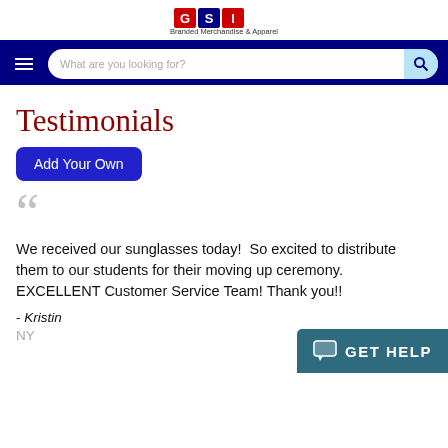[Figure (logo): Company logo with text 'Branded Merchandise & Apparel']
Navigation bar with hamburger menu and search field 'What are you looking for?'
Testimonials
Add Your Own
We received our sunglasses today!  So excited to distribute them to our students for their moving up ceremony.  EXCELLENT Customer Service Team! Thank you!!
- Kristin
NY